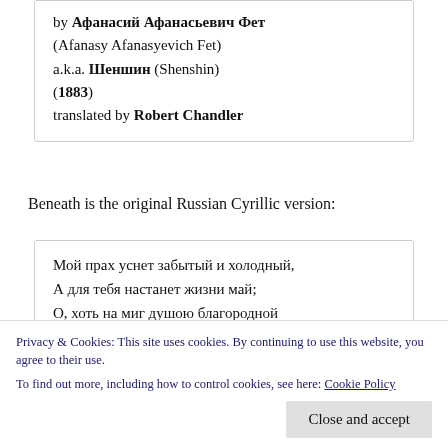by Афанасий Афанасьевич Фет (Afanasy Afanasyevich Fet) a.k.a. Шеншин (Shenshin) (1883) translated by Robert Chandler
Beneath is the original Russian Cyrillic version:
Мой прах уснет забытый и холодный,
А для тебя настанет жизни май;
О, хоть на миг душою благородной
Тогда стихам, звучавшим мне, внимай!
Privacy & Cookies: This site uses cookies. By continuing to use this website, you agree to their use.
To find out more, including how to control cookies, see here: Cookie Policy
Сердечных тайн бессмертье ты проверь.